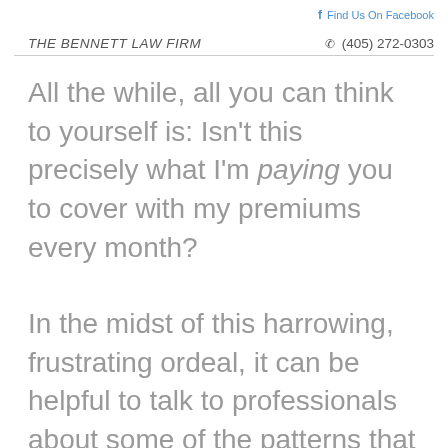Find Us On Facebook
THE BENNETT LAW FIRM  (405) 272-0303
All the while, all you can think to yourself is: Isn't this precisely what I'm paying you to cover with my premiums every month?
In the midst of this harrowing, frustrating ordeal, it can be helpful to talk to professionals about some of the patterns that stand out when